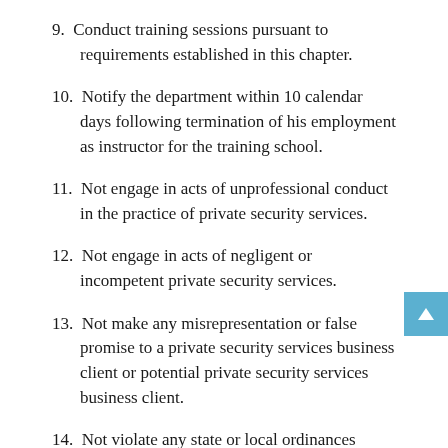9. Conduct training sessions pursuant to requirements established in this chapter.
10. Notify the department within 10 calendar days following termination of his employment as instructor for the training school.
11. Not engage in acts of unprofessional conduct in the practice of private security services.
12. Not engage in acts of negligent or incompetent private security services.
13. Not make any misrepresentation or false promise to a private security services business client or potential private security services business client.
14. Not violate any state or local ordinances relating to private security services.
15. Maintain documentation of successful completion of a minimum of two hours of professional